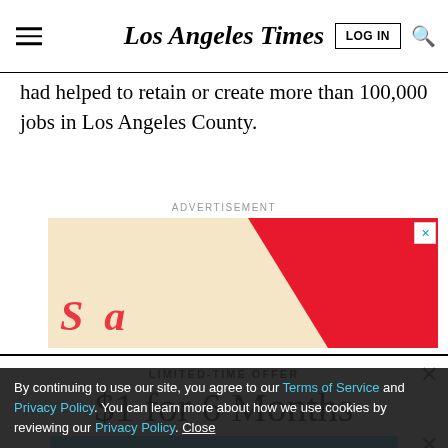Los Angeles Times
had helped to retain or create more than 100,000 jobs in Los Angeles County.
ADVERTISEMENT
[Figure (other): Advertisement banner with beige background and red diagonal stripe]
LIMITED-TIME OFFER
$1 for 6 Months
SUBSCRIBE NOW
By continuing to use our site, you agree to our Terms of Service and Privacy Policy. You can learn more about how we use cookies by reviewing our Privacy Policy. Close